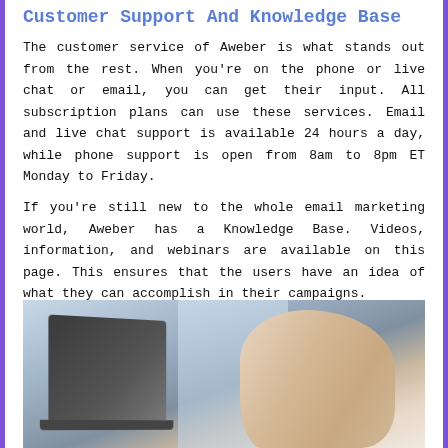Customer Support And Knowledge Base
The customer service of Aweber is what stands out from the rest. When you're on the phone or live chat or email, you can get their input. All subscription plans can use these services. Email and live chat support is available 24 hours a day, while phone support is open from 8am to 8pm ET Monday to Friday.
If you're still new to the whole email marketing world, Aweber has a Knowledge Base. Videos, information, and webinars are available on this page. This ensures that the users have an idea of what they can accomplish in their campaigns.
[Figure (photo): A person working on a laptop computer, with another laptop or tablet visible in the background. The scene suggests a professional or home office environment.]